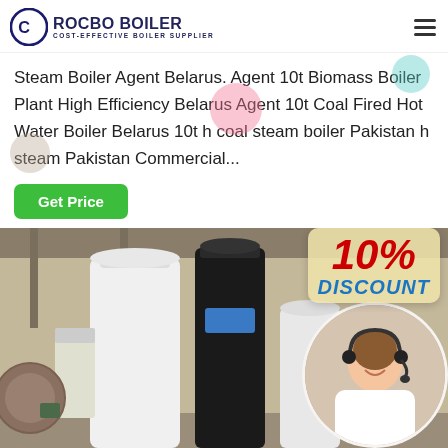[Figure (logo): Rocbo Boiler logo with circular C emblem and text 'ROCBO BOILER - COST-EFFECTIVE BOILER SUPPLIER']
Steam Boiler Agent Belarus. Agent 10t Biomass Boiler Plant High Efficiency Belarus Agent 10t Coal Fired Hot Water Boiler Belarus 10t h coal steam boiler Pakistan h steam Pakistan Commercial...
[Figure (photo): Industrial boiler equipment in a warehouse/factory setting. Shows white and black cylindrical boiler units. Overlay includes a 10% DISCOUNT badge and a circular portrait of a smiling female customer service representative wearing a headset.]